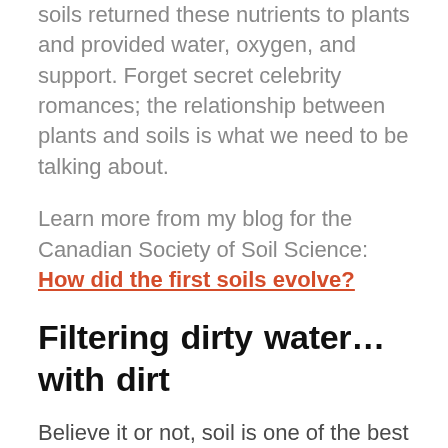soils returned these nutrients to plants and provided water, oxygen, and support. Forget secret celebrity romances; the relationship between plants and soils is what we need to be talking about.
Learn more from my blog for the Canadian Society of Soil Science: How did the first soils evolve?
Filtering dirty water…with dirt
Believe it or not, soil is one of the best water filters out there. As water seeps deeper into the ground, infiltrating the soil, different size particles, like sand or clay, physically filter out contaminants. Most soils also have a slight chemical charge which attracts and captures chemicals (like ammonium) with the opposite charge. The soil keeps the